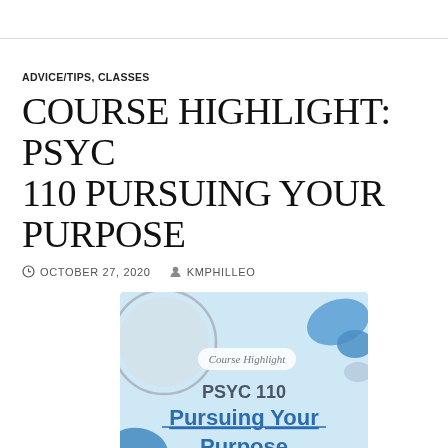ADVICE/TIPS, CLASSES
COURSE HIGHLIGHT: PSYC 110 PURSUING YOUR PURPOSE
OCTOBER 27, 2020   KMPHILLEO
[Figure (illustration): Course Highlight graphic for PSYC 110 Pursuing Your Purpose with light blue background, grey circle shape, blue blob shapes, a pill-shaped label reading 'Course Highlight', bold text 'PSYC 110' and underlined bold text 'Pursuing Your Purpose']